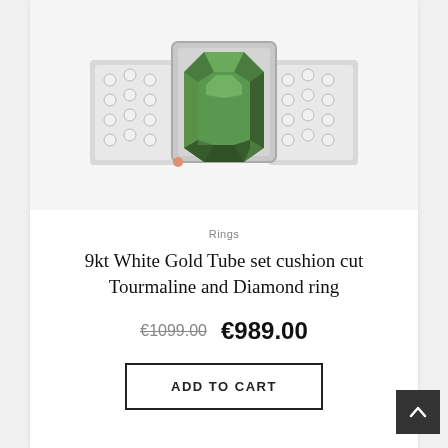[Figure (photo): Close-up photograph of a 9kt white gold ring with a large cushion-cut green tourmaline gemstone set in a tube setting, flanked by diamond-set shoulders, shown from above on a white background.]
Rings
9kt White Gold Tube set cushion cut Tourmaline and Diamond ring
€1099.00  €989.00
ADD TO CART